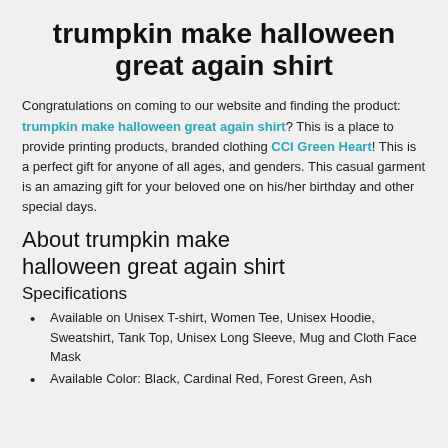trumpkin make halloween great again shirt
Congratulations on coming to our website and finding the product: trumpkin make halloween great again shirt? This is a place to provide printing products, branded clothing CCI Green Heart! This is a perfect gift for anyone of all ages, and genders. This casual garment is an amazing gift for your beloved one on his/her birthday and other special days.
About trumpkin make halloween great again shirt
Specifications
Available on Unisex T-shirt, Women Tee, Unisex Hoodie, Sweatshirt, Tank Top, Unisex Long Sleeve, Mug and Cloth Face Mask
Available Color: Black, Cardinal Red, Forest Green, Ash...